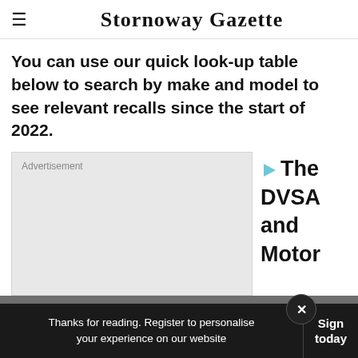≡  Stornoway Gazette
You can use our quick look-up table below to search by make and model to see relevant recalls since the start of 2022.
[Figure (other): Advertisement placeholder box (grey rectangle) with 'Advertisement' label]
The DVSA and Motor
Thanks for reading. Register to personalise your experience on our website  Sign today  ×